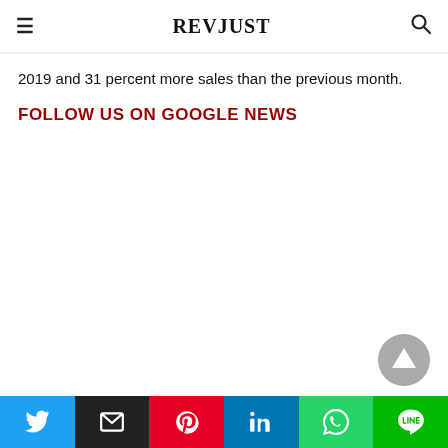REVJUST
2019 and 31 percent more sales than the previous month.
FOLLOW US ON GOOGLE NEWS
[Figure (other): Scroll-to-top button, circular grey with upward triangle]
Social share bar: Twitter, Email, Pinterest, LinkedIn, WhatsApp, Line